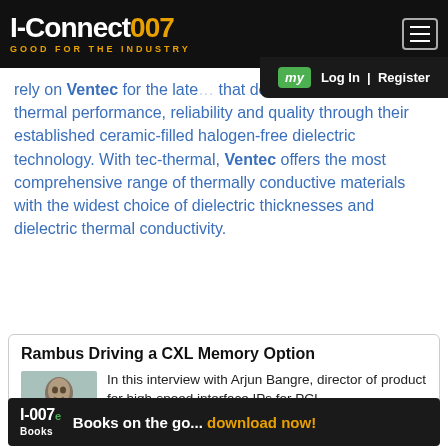I-Connect007 — GOOD FOR THE INDUSTRY
rely on Ventec for the latest… that deliver an exceptional thermal performance, reliability and quality through their established ceramic-filled halogen-free dielectric technology. With tec-thermal, Ventec offers the most comprehensive range of thermally conductive materials with the widest choice of dielectric thicknesses and dielectric thermal conductivity.
Rambus Driving a CXL Memory Option
In this interview with Arjun Bangre, director of product for high-speed interface IPs for PCI…
I-007e Books — Books on the go... download now!